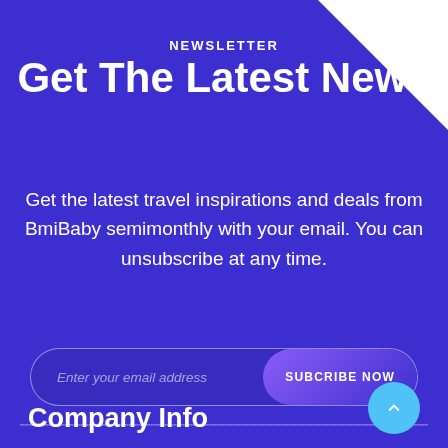NEWSLETTER
Get The Latest News
Get the latest travel inspirations and deals from BmiBaby semimonthly with your email. You can unsubscribe at any time.
Enter your email address
SUBCRIBE NOW
Company Info